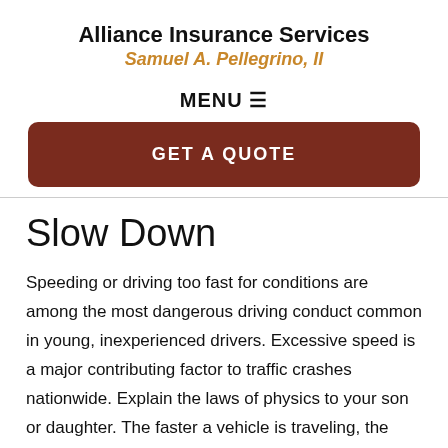Alliance Insurance Services
Samuel A. Pellegrino, II
MENU ≡
GET A QUOTE
Slow Down
Speeding or driving too fast for conditions are among the most dangerous driving conduct common in young, inexperienced drivers. Excessive speed is a major contributing factor to traffic crashes nationwide. Explain the laws of physics to your son or daughter. The faster a vehicle is traveling, the more time and distance is